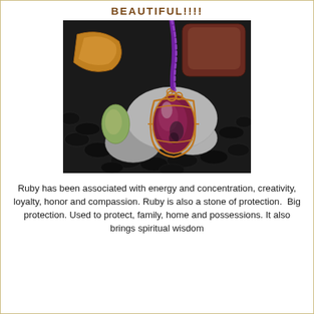BEAUTIFUL!!!!
[Figure (photo): A wire-wrapped ruby stone pendant on a braided purple cord, surrounded by black pebbles, grey stones, a yellow-orange rough rock, and a pale green tumbled stone on a dark background.]
Ruby has been associated with energy and concentration, creativity, loyalty, honor and compassion. Ruby is also a stone of protection.  Big protection. Used to protect, family, home and possessions. It also brings spiritual wisdom